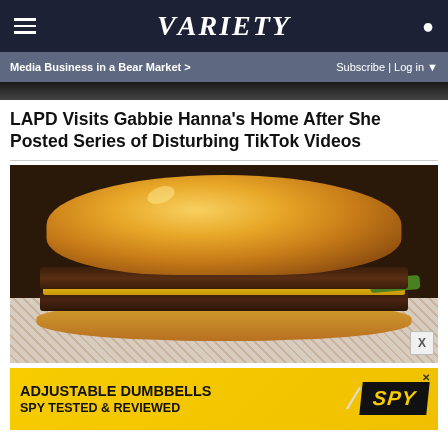VARIETY
Media Business in a Bear Market >   Subscribe | Log in
[Figure (photo): Partial view of a dark background at top of page, appears to be a cropped photo]
LAPD Visits Gabbie Hanna's Home After She Posted Series of Disturbing TikTok Videos
[Figure (photo): Close-up photo of a double cheeseburger with cheese, pickles, wrapped in checkered paper]
ADJUSTABLE DUMBBELLS SPY TESTED & REVIEWED (Advertisement)